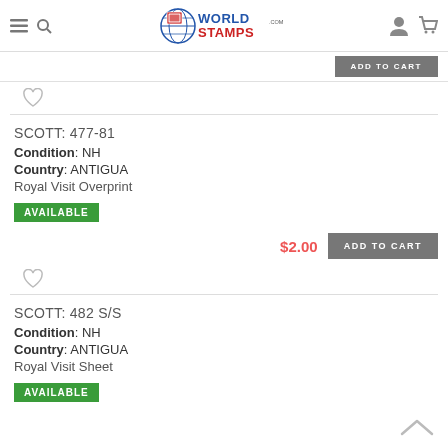WorldStamps.com
SCOTT: 477-81
Condition: NH
Country: ANTIGUA
Royal Visit Overprint
AVAILABLE
$2.00 ADD TO CART
SCOTT: 482 S/S
Condition: NH
Country: ANTIGUA
Royal Visit Sheet
AVAILABLE